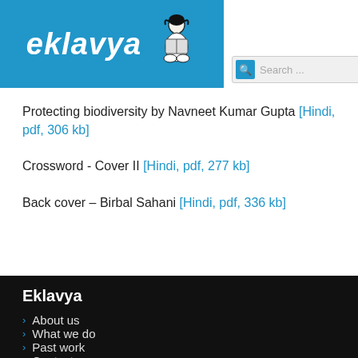[Figure (logo): Eklavya logo — blue banner with white italic text 'eklavya' and a small illustration of a child reading a book]
Protecting biodiversity by Navneet Kumar Gupta [Hindi, pdf, 306 kb]
Crossword - Cover II [Hindi, pdf, 277 kb]
Back cover – Birbal Sahani [Hindi, pdf, 336 kb]
Eklavya
About us
What we do
Past work
Contact us